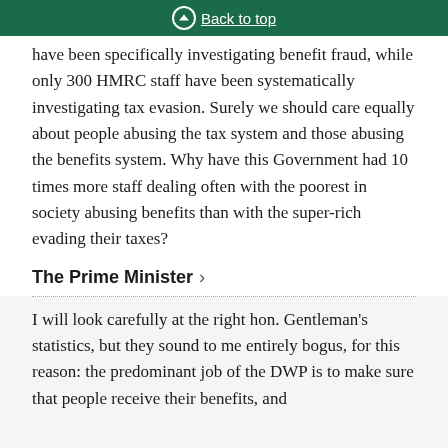Back to top
have been specifically investigating benefit fraud, while only 300 HMRC staff have been systematically investigating tax evasion. Surely we should care equally about people abusing the tax system and those abusing the benefits system. Why have this Government had 10 times more staff dealing often with the poorest in society abusing benefits than with the super-rich evading their taxes?
The Prime Minister
I will look carefully at the right hon. Gentleman's statistics, but they sound to me entirely bogus, for this reason: the predominant job of the DWP is to make sure that people receive their benefits, and